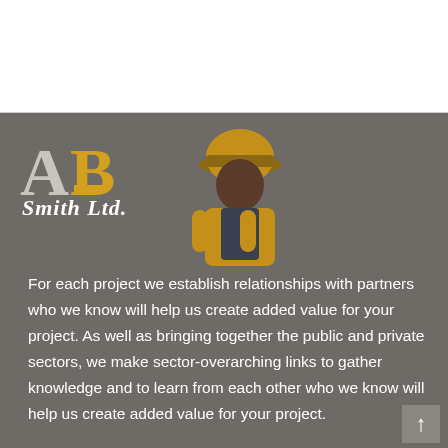[Figure (logo): AB Smith Ltd. logo with white A, golden B letters and italic white text 'Smith Ltd.' on grey background, with construction worker icon illustration]
For each project we establish relationships with partners who we know will help us create added value for your project. As well as bringing together the public and private sectors, we make sector-overarching links to gather knowledge and to learn from each other who we know will help us create added value for your project.